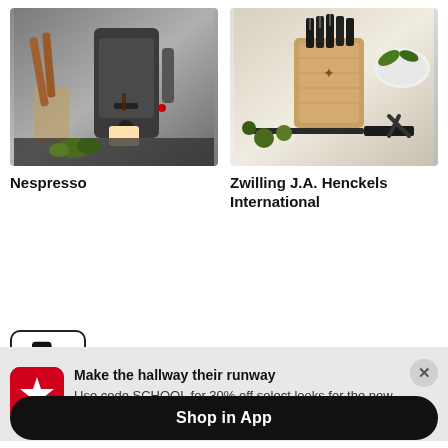[Figure (photo): Nespresso coffee machine with coffee being brewed, surrounded by bread and accessories on a dark surface]
Nespresso
[Figure (photo): Zwilling J.A. Henckels knife block set with multiple knives, surrounded by vegetables and kitchen items]
Zwilling J.A. Henckels International
[Figure (other): Need Help? chat widget with speech bubble icon, bordered box]
Make the hallway their runway
Use code SCHOOL for 30% off select looks for the new year.
Shop in App